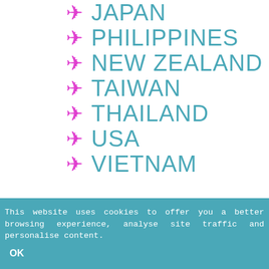✈ JAPAN
✈ PHILIPPINES
✈ NEW ZEALAND
✈ TAIWAN
✈ THAILAND
✈ USA
✈ VIETNAM
This website uses cookies to offer you a better browsing experience, analyse site traffic and personalise content.
OK